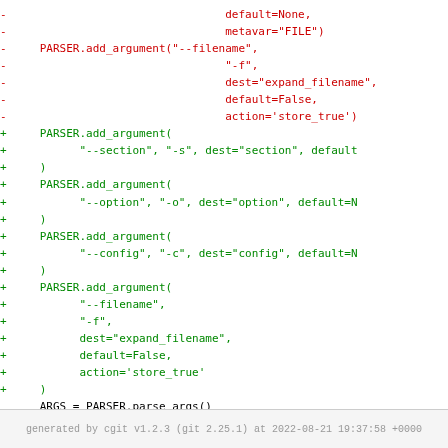[Figure (screenshot): Code diff showing removed lines (red, prefixed with -) and added lines (green, prefixed with +) for Python argument parser code. Removed lines include PARSER.add_argument calls with --filename, -f, dest=expand_filename, default=False, action=store_true. Added lines include PARSER.add_argument calls for --section/-s, --option/-o, --config/-c, --filename/-f with similar parameters. Black lines show ARGS = PARSER.parse_args() and TC = TalerConfig.from_file(ARGS.config).]
generated by cgit v1.2.3 (git 2.25.1) at 2022-08-21 19:37:58 +0000